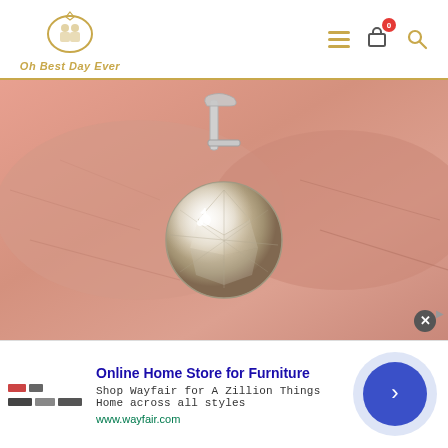Oh Best Day Ever — navigation header with logo, menu, cart (0), and search icons
[Figure (photo): Close-up macro photo of a round brilliant diamond pendant held between fingers, showing the gemstone and silver prong setting against skin background]
[Figure (screenshot): Wayfair advertisement banner: 'Online Home Store for Furniture — Shop Wayfair for A Zillion Things Home across all styles — www.wayfair.com' with arrow button and close button]